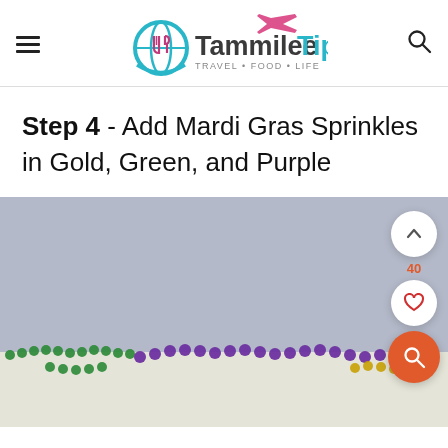Tammilee Tips - TRAVEL+FOOD+LIFE
Step 4 - Add Mardi Gras Sprinkles in Gold, Green, and Purple
[Figure (photo): Photo of Mardi Gras themed food with purple and green bead necklaces on a light gray/white background, partially visible at bottom of frame.]